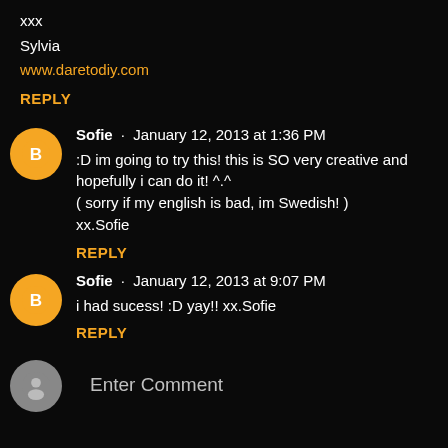xxx
Sylvia
www.daretodiy.com
REPLY
Sofie · January 12, 2013 at 1:36 PM
:D im going to try this! this is SO very creative and hopefully i can do it! ^.^ ( sorry if my english is bad, im Swedish! ) xx.Sofie
REPLY
Sofie · January 12, 2013 at 9:07 PM
i had sucess! :D yay!! xx.Sofie
REPLY
Enter Comment